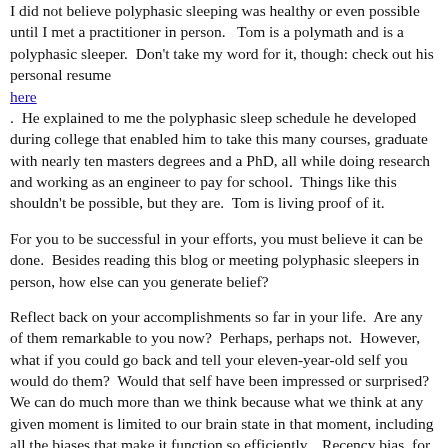I did not believe polyphasic sleeping was healthy or even possible until I met a practitioner in person.   Tom is a polymath and is a polyphasic sleeper.  Don't take my word for it, though: check out his personal resume here.  He explained to me the polyphasic sleep schedule he developed during college that enabled him to take this many courses, graduate with nearly ten masters degrees and a PhD, all while doing research and working as an engineer to pay for school.  Things like this shouldn't be possible, but they are.  Tom is living proof of it.
For you to be successful in your efforts, you must believe it can be done.  Besides reading this blog or meeting polyphasic sleepers in person, how else can you generate belief?
Reflect back on your accomplishments so far in your life.  Are any of them remarkable to you now?  Perhaps, perhaps not.  However, what if you could go back and tell your eleven-year-old self you would do them?  Would that self have been impressed or surprised?  We can do much more than we think because what we think at any given moment is limited to our brain state in that moment, including all the biases that make it function so efficiently.   Recency bias, for example, is a common algorithm our brain runs to help us navigate the world.  This is quite helpful in making snap judgements about unimportant matters, such as the best way to drive to work during traffic.  Based on our experience